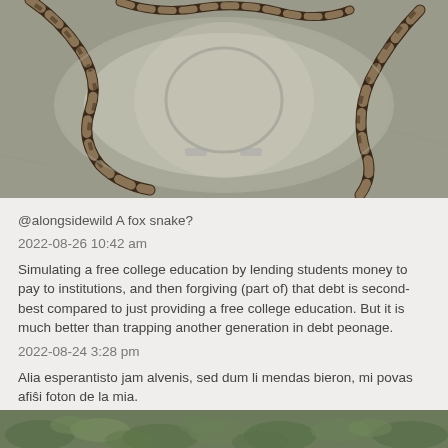[Figure (photo): A patterned snake (fox snake) coiled in a metal sink or bowl, viewed from above. The snake has brown and black blotchy markings on a lighter background.]
@alongsidewild A fox snake?
2022-08-26 10:42 am
Simulating a free college education by lending students money to pay to institutions, and then forgiving (part of) that debt is second-best compared to just providing a free college education. But it is much better than trapping another generation in debt peonage.
2022-08-24 3:28 pm
Alia esperantisto jam alvenis, sed dum li mendas bieron, mi povas afiŝi foton de la mia.
[Figure (photo): Partial view of a green leafy outdoor scene, visible at the bottom of the page.]